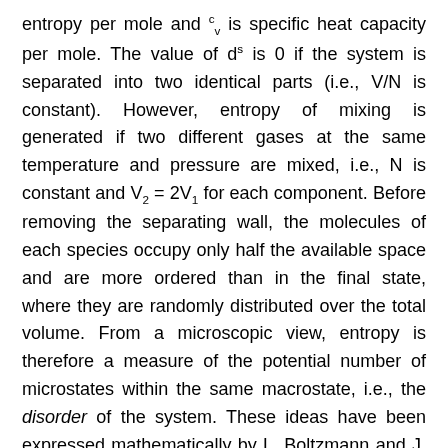entropy per mole and c_v is specific heat capacity per mole. The value of d^s is 0 if the system is separated into two identical parts (i.e., V/N is constant). However, entropy of mixing is generated if two different gases at the same temperature and pressure are mixed, i.e., N is constant and V_2 = 2V_1 for each component. Before removing the separating wall, the molecules of each species occupy only half the available space and are more ordered than in the final state, where they are randomly distributed over the total volume. From a microscopic view, entropy is therefore a measure of the potential number of microstates within the same macrostate, i.e., the disorder of the system. These ideas have been expressed mathematically by L. Boltzmann and J. W. Gibbs in terms of a thermodynamic probability Ω, which is the number